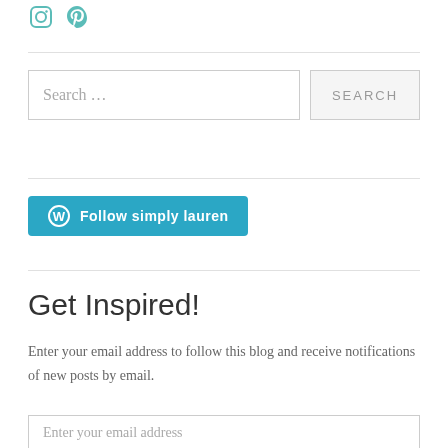[Figure (logo): Teal Instagram and Pinterest social media icons]
Search …
SEARCH
Follow simply lauren
Get Inspired!
Enter your email address to follow this blog and receive notifications of new posts by email.
Enter your email address